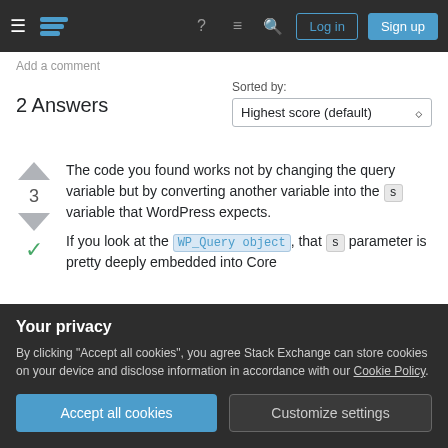[Figure (screenshot): Stack Exchange navigation bar with hamburger menu, logo, help icon, chat icon, search icon, Log in button, and Sign up button]
Add a comment
2 Answers
Sorted by: Highest score (default)
The code you found works not by changing the query variable but by converting another variable into the s variable that WordPress expects.
If you look at the WP_Query object, that s parameter is pretty deeply embedded into Core
Your privacy
By clicking "Accept all cookies", you agree Stack Exchange can store cookies on your device and disclose information in accordance with our Cookie Policy.
Accept all cookies
Customize settings